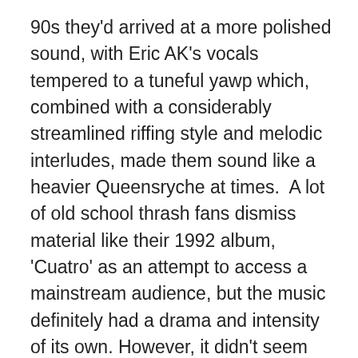90s they'd arrived at a more polished sound, with Eric AK's vocals tempered to a tuneful yawp which, combined with a considerably streamlined riffing style and melodic interludes, made them sound like a heavier Queensryche at times.  A lot of old school thrash fans dismiss material like their 1992 album, 'Cuatro' as an attempt to access a mainstream audience, but the music definitely had a drama and intensity of its own. However, it didn't seem like they could muster up the same level of creativity from album to album and their subsequent albums are pretty inconsistent in quality.
I haven't heard the previous albums they released after their brief post-2005 hiatus, but 'Ugly Noise' sounds like more of the same phenomenon – a middle-of-the-road, middle-aged thrash sound that'll never recapture the